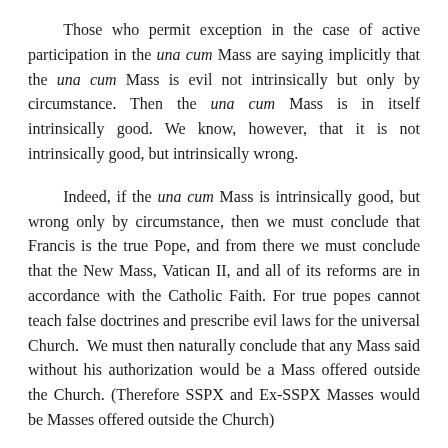Those who permit exception in the case of active participation in the una cum Mass are saying implicitly that the una cum Mass is evil not intrinsically but only by circumstance. Then the una cum Mass is in itself intrinsically good. We know, however, that it is not intrinsically good, but intrinsically wrong.
Indeed, if the una cum Mass is intrinsically good, but wrong only by circumstance, then we must conclude that Francis is the true Pope, and from there we must conclude that the New Mass, Vatican II, and all of its reforms are in accordance with the Catholic Faith. For true popes cannot teach false doctrines and prescribe evil laws for the universal Church.  We must then naturally conclude that any Mass said without his authorization would be a Mass offered outside the Church. (Therefore SSPX and Ex-SSPX Masses would be Masses offered outside the Church)
Furthermore, what circumstance would render the una